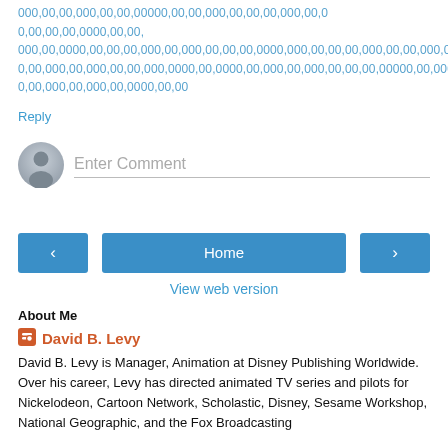000,00,00,000,00,00,00000,00,00,000,00,00,00,000,00,0 0,00,00,00,0000,00,00, 000,00,0000,00,00,00,000,00,000,00,00,00,0000,000,00,00,00,000,00,00,000,00,00 0,00,000,00,000,00,00,000,0000,00,0000,00,000,00,000,00,00,00,00000,00,000,00,00 0,00,000,00,000,00,0000,00,00
Reply
[Figure (other): Avatar placeholder circle with grey person silhouette icon]
Enter Comment
[Figure (other): Left arrow navigation button (blue)]
Home
[Figure (other): Right arrow navigation button (blue)]
View web version
About Me
David B. Levy
David B. Levy is Manager, Animation at Disney Publishing Worldwide. Over his career, Levy has directed animated TV series and pilots for Nickelodeon, Cartoon Network, Scholastic, Disney, Sesame Workshop, National Geographic, and the Fox Broadcasting